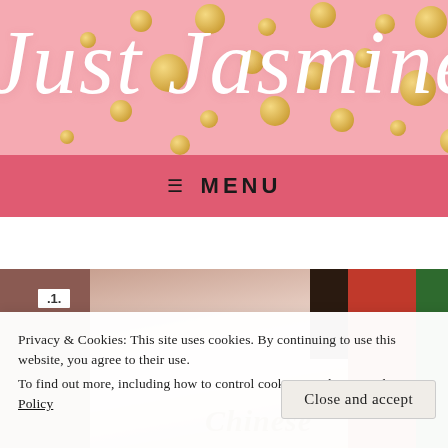[Figure (screenshot): Pink banner with gold polka dot circles and cursive white script text reading 'Just Jasminella' (partially cropped), blog header image]
≡  MENU
[Figure (photo): Outdoor photo showing a person in a fur coat with long dark hair standing in front of a red door, brick wall with number 11 on left, green bushes on right. Text overlay reads 'Chinese']
Privacy & Cookies: This site uses cookies. By continuing to use this website, you agree to their use.
To find out more, including how to control cookies, see here: Cookie Policy
Close and accept